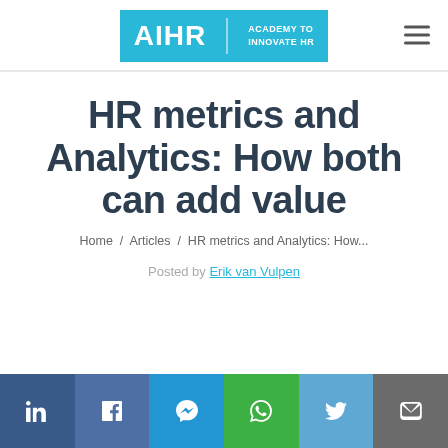AIHR | ACADEMY TO INNOVATE HR
HR metrics and Analytics: How both can add value
Home / Articles / HR metrics and Analytics: How...
Posted by Erik van Vulpen
[Figure (infographic): Social share bar with LinkedIn, Facebook, Messenger, WhatsApp, Twitter, and Email buttons]